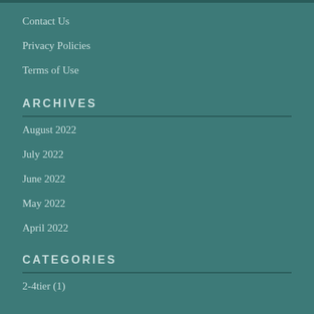Contact Us
Privacy Policies
Terms of Use
ARCHIVES
August 2022
July 2022
June 2022
May 2022
April 2022
CATEGORIES
2-4tier (1)